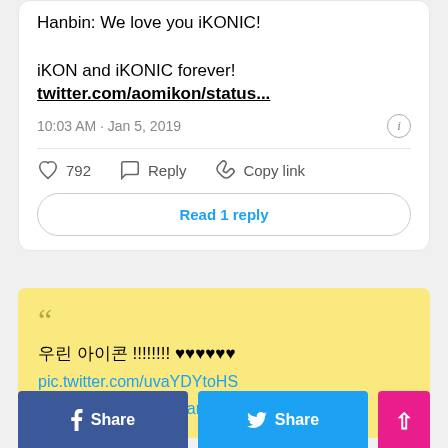Hanbin: We love you iKONIC!

iKON and iKONIC forever!
twitter.com/aomikon/status...
10:03 AM · Jan 5, 2019
792  Reply  Copy link
Read 1 reply
우린 아이콘 !!!!!!!! ♥♥♥♥♥♥
pic.twitter.com/uvaYDYtoHS
— 티파 (@thiphae) January 5, 2019